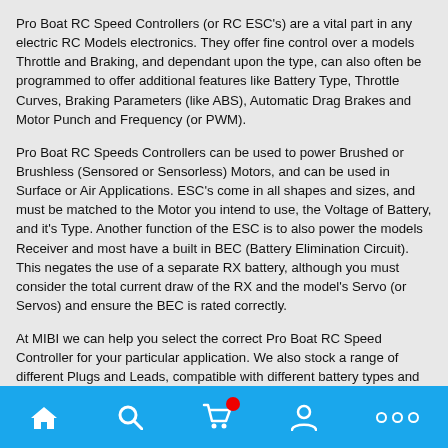Pro Boat RC Speed Controllers (or RC ESC's) are a vital part in any electric RC Models electronics. They offer fine control over a models Throttle and Braking, and dependant upon the type, can also often be programmed to offer additional features like Battery Type, Throttle Curves, Braking Parameters (like ABS), Automatic Drag Brakes and Motor Punch and Frequency (or PWM).
Pro Boat RC Speeds Controllers can be used to power Brushed or Brushless (Sensored or Sensorless) Motors, and can be used in Surface or Air Applications. ESC's come in all shapes and sizes, and must be matched to the Motor you intend to use, the Voltage of Battery, and it's Type. Another function of the ESC is to also power the models Receiver and most have a built in BEC (Battery Elimination Circuit). This negates the use of a separate RX battery, although you must consider the total current draw of the RX and the model's Servo (or Servos) and ensure the BEC is rated correctly.
At MIBI we can help you select the correct Pro Boat RC Speed Controller for your particular application. We also stock a range of different Plugs and Leads, compatible with different battery types and also a range of Brushed and Brushless Motors, Replacement Sensor Leads, Soldering Irons, Solder and the all important Heat-shrink. Choosing the correct ESC is vital in having a model that's in full control at all times, and a joy to Drive, Fly or Pilot. MIBI are here to help you get the most from our Pro Boat range of RC Speed...
Navigation bar with home, search, cart, account, and more icons